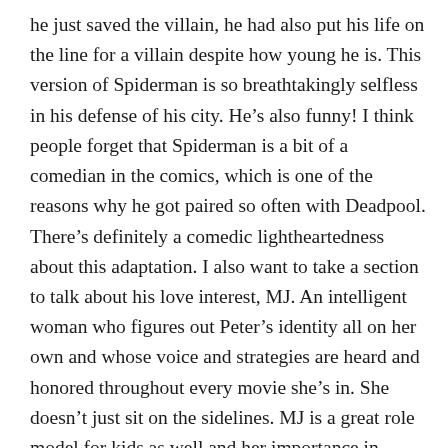he just saved the villain, he had also put his life on the line for a villain despite how young he is. This version of Spiderman is so breathtakingly selfless in his defense of his city. He's also funny! I think people forget that Spiderman is a bit of a comedian in the comics, which is one of the reasons why he got paired so often with Deadpool. There's definitely a comedic lightheartedness about this adaptation. I also want to take a section to talk about his love interest, MJ. An intelligent woman who figures out Peter's identity all on her own and whose voice and strategies are heard and honored throughout every movie she's in. She doesn't just sit on the sidelines. MJ is a great role model for kids as well and her importance in Peter's life is palpable through actions rather than just words. However, while these movies see some of my favorite adapted characters, the movies have been too MCU focused for me. I hear this latest movie